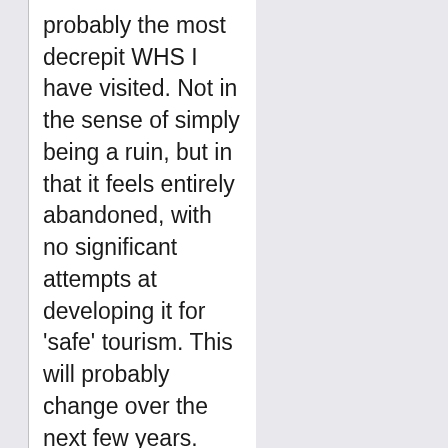probably the most decrepit WHS I have visited. Not in the sense of simply being a ruin, but in that it feels entirely abandoned, with no significant attempts at developing it for 'safe' tourism. This will probably change over the next few years. The general area seems to be a reasonably popular picnic destination, with a newly constructed EU-funded walking trail